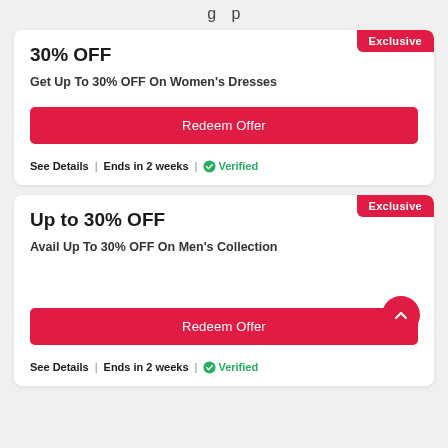g p
30% OFF
Get Up To 30% OFF On Women's Dresses
Redeem Offer
See Details | Ends in 2 weeks | Verified
Up to 30% OFF
Avail Up To 30% OFF On Men's Collection
Redeem Offer
See Details | Ends in 2 weeks | Verified